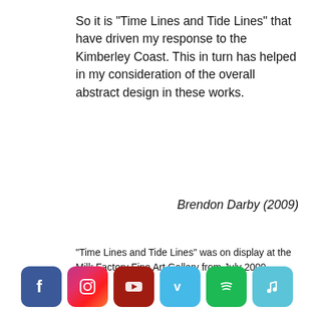So it is "Time Lines and Tide Lines" that have driven my response to the Kimberley Coast. This in turn has helped in my consideration of the overall abstract design in these works.
Brendon Darby (2009)
"Time Lines and Tide Lines" was on display at the Milk Factory Fine Art Gallery from July 2009.
[Figure (infographic): Row of six social media icon buttons: Facebook (blue), Instagram (pink/red gradient), YouTube (dark red), Vimeo (light blue), Spotify (green), Music/Apple Music (light blue)]